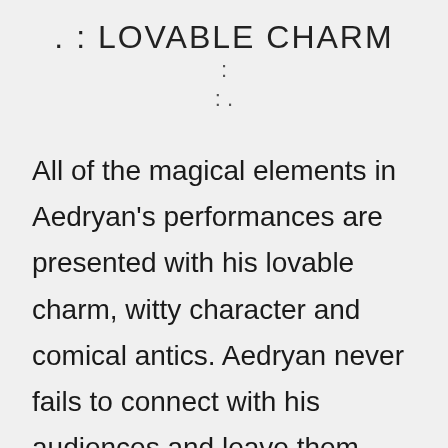. : LOVABLE CHARM
: .
: .
All of the magical elements in Aedryan's performances are presented with his lovable charm, witty character and comical antics. Aedryan never fails to connect with his audiences and leave them spellbound, as he takes them on a rollercoaster ride, full of